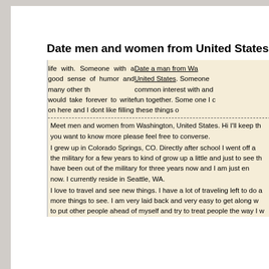Date men and women from United States / Washington
Date a man from Washington, United States. Someone common interest with and fun together. Some one I can life with. Someone with a good sense of humor and many other things that would take forever to write on here and I dont like filling these things out.
Meet men and women from Washington, United States. Hi I'll keep this short, if you want to know more please feel free to converse.
I grew up in Colorado Springs, CO. Directly after school I went off and joined the military for a few years to kind of grow up a little and just to see the world. I have been out of the military for three years now and I am just enjoying life right now. I currently reside in Seattle, WA.
I love to travel and see new things. I have a lot of traveling left to do and so many more things to see. I am very laid back and very easy to get along with. I try to put other people ahead of myself and try to treat people the way I want to be